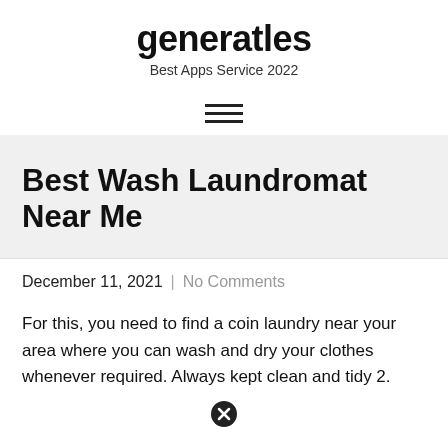generatles
Best Apps Service 2022
[Figure (other): Hamburger menu icon with three horizontal lines]
Best Wash Laundromat Near Me
December 11, 2021  |  No Comments
For this, you need to find a coin laundry near your area where you can wash and dry your clothes whenever required. Always kept clean and tidy 2.